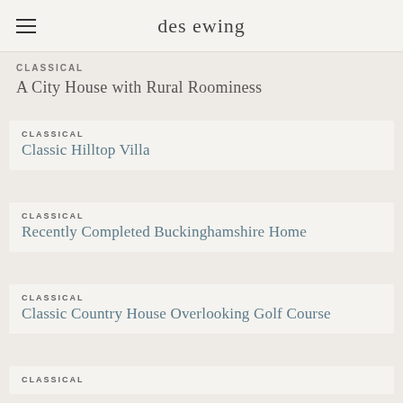des ewing
CLASSICAL
A City House with Rural Roominess
CLASSICAL
Classic Hilltop Villa
CLASSICAL
Recently Completed Buckinghamshire Home
CLASSICAL
Classic Country House Overlooking Golf Course
CLASSICAL